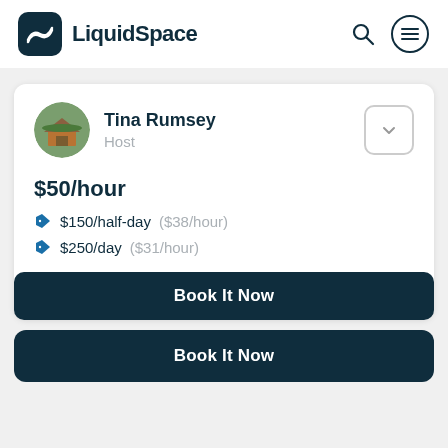LiquidSpace
Tina Rumsey
Host
$50/hour
$150/half-day ($38/hour)
$250/day ($31/hour)
Book It Now
Book It Now